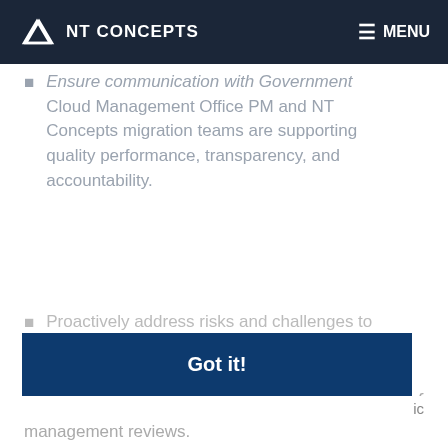NT CONCEPTS | MENU
Ensure communication with Government Cloud Management Office PM and NT Concepts migration teams are supporting quality performance, transparency, and accountability.
Proactively address risks and challenges to
WE'RE DATA PEOPLE. We use cookies on our site to analyze site traffic and improve your user experience. We do not sell your information to anyone. Period. By continuing to use this site, you consent to use our cookies.  Learn more
Got it!
ic
management reviews.